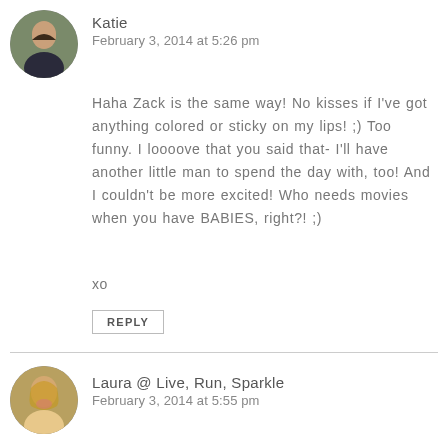Katie
February 3, 2014 at 5:26 pm
Haha Zack is the same way! No kisses if I've got anything colored or sticky on my lips! ;) Too funny. I loooove that you said that- I'll have another little man to spend the day with, too! And I couldn't be more excited! Who needs movies when you have BABIES, right?! ;)
xo
REPLY
Laura @ Live, Run, Sparkle
February 3, 2014 at 5:55 pm